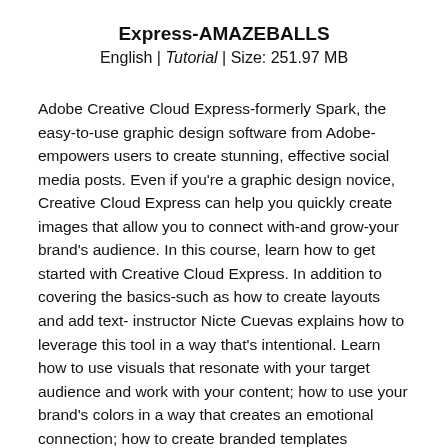Express-AMAZEBALLS
English | Tutorial | Size: 251.97 MB
Adobe Creative Cloud Express-formerly Spark, the easy-to-use graphic design software from Adobe-empowers users to create stunning, effective social media posts. Even if you're a graphic design novice, Creative Cloud Express can help you quickly create images that allow you to connect with-and grow-your brand's audience. In this course, learn how to get started with Creative Cloud Express. In addition to covering the basics-such as how to create layouts and add text- instructor Nicte Cuevas explains how to leverage this tool in a way that's intentional. Learn how to use visuals that resonate with your target audience and work with your content; how to use your brand's colors in a way that creates an emotional connection; how to create branded templates